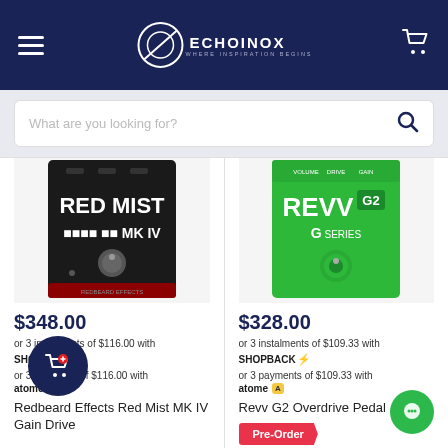ECHOINOX — WHERE INSPIRATION BEGINS
What are you looking for?
[Figure (photo): Red Mist MK IV guitar pedal by Redbeard Effects — black enclosure]
$348.00
or 3 instalments of $116.00 with SHOPBACK⚡
or 3 payments of $116.00 with atome
Redbeard Effects Red Mist MK IV Gain Drive
[Figure (photo): Revv G2 Overdrive Pedal — green enclosure with knobs]
$328.00
or 3 instalments of $109.33 with SHOPBACK⚡
or 3 payments of $109.33 with atome
Revv G2 Overdrive Pedal
Pre-Order